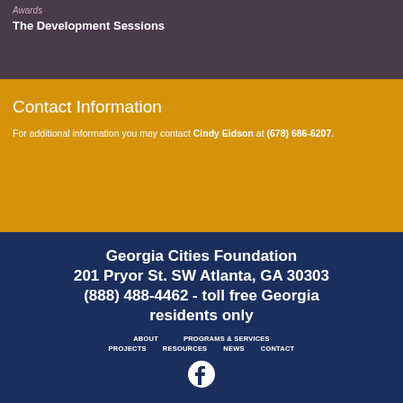Awards
The Development Sessions
Contact Information
For additional information you may contact Cindy Eidson at (678) 686-6207.
Georgia Cities Foundation
201 Pryor St. SW Atlanta, GA 30303
(888) 488-4462 - toll free Georgia residents only
ABOUT   PROGRAMS & SERVICES   PROJECTS   RESOURCES   NEWS   CONTACT
[Figure (logo): Facebook logo icon (white circle with f)]